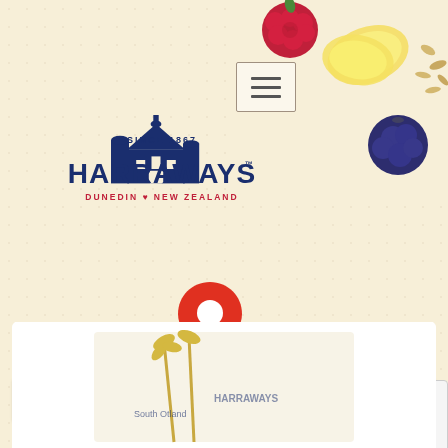[Figure (photo): Top right corner: raspberries, banana slices, blueberries, and oats on a cream background]
[Figure (illustration): Hamburger menu icon — three horizontal lines inside a light box outline]
[Figure (logo): Harraways logo: blue mill building illustration with text 'SINCE 1867' above, 'HARRAWAYS' in large bold navy blue letters, 'DUNEDIN ♥ NEW ZEALAND' below in red]
[Figure (illustration): Red map location pin icon centered on page]
[Figure (screenshot): White search input bar]
SEARCH
[Figure (screenshot): reCAPTCHA widget fragment showing the recycling logo and 'Privacy · Terms' text]
[Figure (photo): Bottom white card showing partial view of a Harraways product with wheat/oat imagery and partial text 'South Otland']